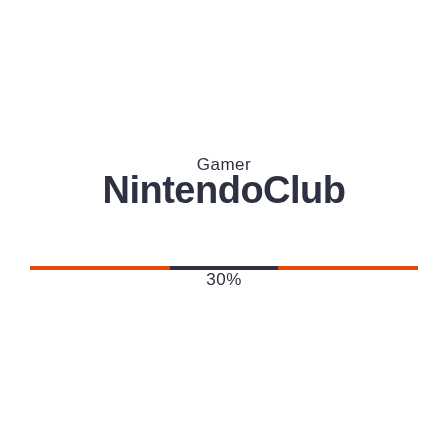Gamer NintendoClub
[Figure (infographic): Horizontal divider line composed of orange segments on the left and right with a dark/black segment in the center]
30%